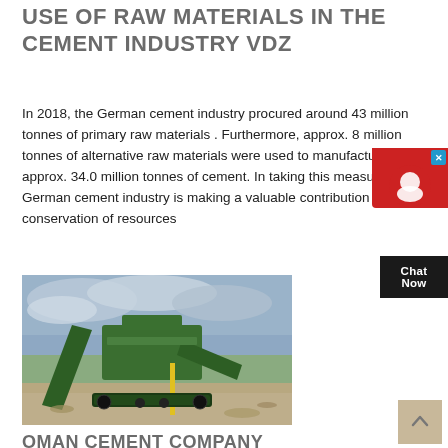USE OF RAW MATERIALS IN THE CEMENT INDUSTRY VDZ
In 2018, the German cement industry procured around 43 million tonnes of primary raw materials . Furthermore, approx. 8 million tonnes of alternative raw materials were used to manufacture approx. 34.0 million tonnes of cement. In taking this measure, the German cement industry is making a valuable contribution towards conservation of resources
get price
[Figure (photo): Industrial cement/mining machinery — a large green mobile crusher or screening plant on tracks, photographed outdoors on a work site with sandy/rocky ground and cloudy sky.]
OMAN CEMENT COMPANY